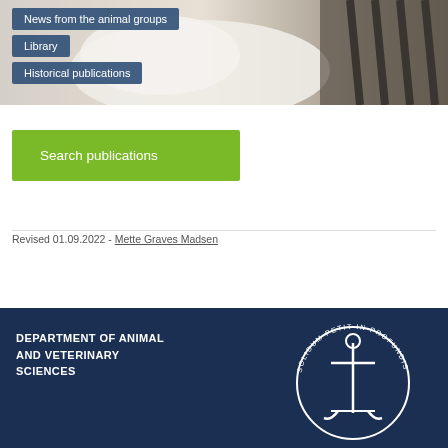[Figure (photo): Hero image of a white animal (sheep/goat) near metal equipment, with dark blue navigation buttons overlaid]
News from the animal groups
Library
Historical publications
Search publications
Revised 01.09.2022 - Mette Graves Madsen
DEPARTMENT OF ANIMAL AND VETERINARY SCIENCES
[Figure (logo): University circular logo with anchor and text 'SOLIDUM PETIT IN PROFUNDIS']